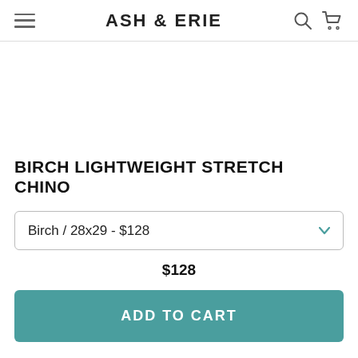ASH & ERIE
BIRCH LIGHTWEIGHT STRETCH CHINO
Birch / 28x29 - $128
$128
ADD TO CART